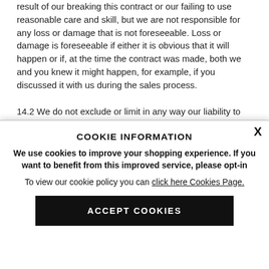result of our breaking this contract or our failing to use reasonable care and skill, but we are not responsible for any loss or damage that is not foreseeable. Loss or damage is foreseeable if either it is obvious that it will happen or if, at the time the contract was made, both we and you knew it might happen, for example, if you discussed it with us during the sales process.
14.2 We do not exclude or limit in any way our liability to you where it would be unlawful to do so. This includes liability for death or personal injury caused by our negligence or the negligence of our employees, agents or subcontractors; for fraud
COOKIE INFORMATION
We use cookies to improve your shopping experience. If you want to benefit from this improved service, please opt-in
To view our cookie policy you can click here Cookies Page.
ACCEPT COOKIES